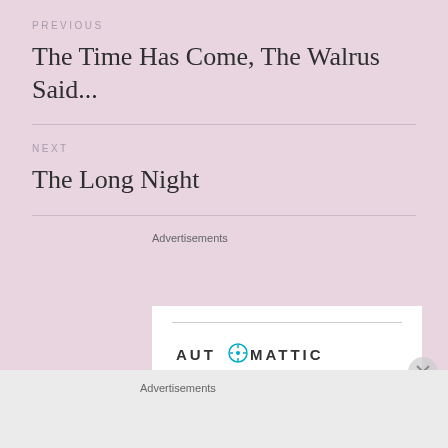PREVIOUS
The Time Has Come, The Walrus Said...
NEXT
The Long Night
Advertisements
[Figure (logo): Automattic logo with text 'AUTOMATTIC' and a circular compass/target icon replacing the 'O', followed by tagline 'Build a better web']
Advertisements